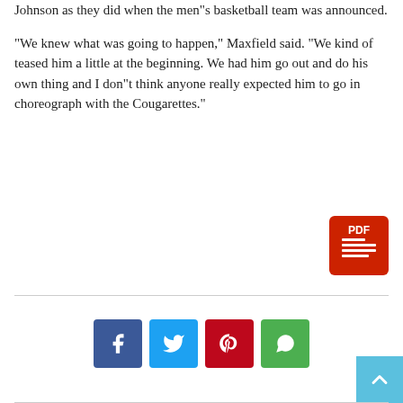Johnson as they did when the men”s basketball team was announced.
“We knew what was going to happen,” Maxfield said. “We kind of teased him a little at the beginning. We had him go out and do his own thing and I don”t think anyone really expected him to go in choreograph with the Cougarettes.”
[Figure (other): PDF icon button (red rounded square with PDF text and document icon)]